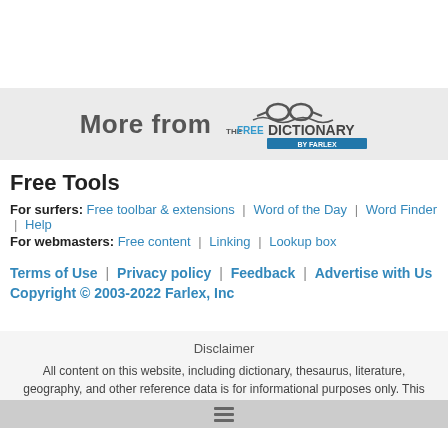[Figure (logo): The Free Dictionary by Farlex logo with glasses icon and banner text 'More from']
Free Tools
For surfers: Free toolbar & extensions | Word of the Day | Word Finder | Help
For webmasters: Free content | Linking | Lookup box
Terms of Use | Privacy policy | Feedback | Advertise with Us
Copyright © 2003-2022 Farlex, Inc
Disclaimer
All content on this website, including dictionary, thesaurus, literature, geography, and other reference data is for informational purposes only. This information should not be considered complete, up to date, and is not intended to be used in place of a visit, consultation, or advice of a legal, medical, or any other professional.